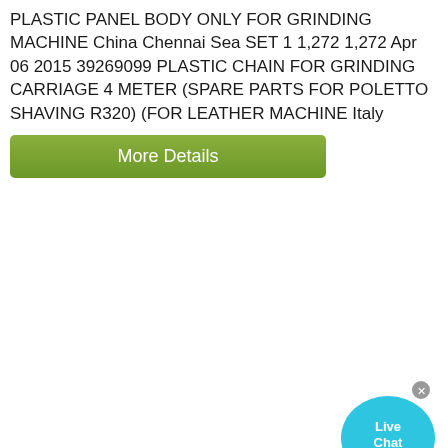PLASTIC PANEL BODY ONLY FOR GRINDING MACHINE China Chennai Sea SET 1 1,272 1,272 Apr 06 2015 39269099 PLASTIC CHAIN FOR GRINDING CARRIAGE 4 METER (SPARE PARTS FOR POLETTO SHAVING R320) (FOR LEATHER MACHINE Italy
More Details
[Figure (infographic): Live Chat button widget with cyan bubble shape and close X button]
el nasr mining company rock phosphate sale
gold processing stamp  belt conveyor indian
calcite mineral deposit
quarry of mineral resources license
china rock jaw crusher for railway
quarry stone cutting machinery india project
aggregate plant in northern california
crushed stone machine supplier indonesiaindex
bhen bhai or dosto ko sath milkar studio stories